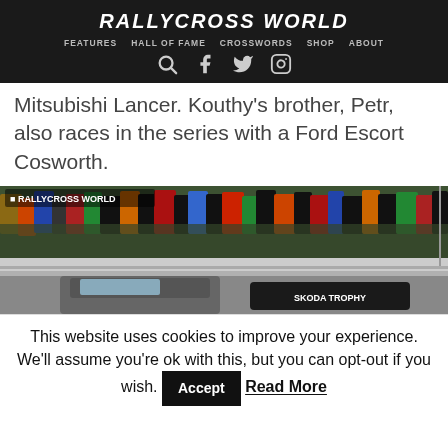RALLYCROSS WORLD — FEATURES | HALL OF FAME | CROSSWORDS | SHOP | ABOUT
Mitsubishi Lancer. Kouthy's brother, Petr, also races in the series with a Ford Escort Cosworth.
[Figure (photo): A large crowd of spectators at a rallycross event, with a car bearing 'SKODA TROPHY' branding visible in the foreground. A 'RALLYCROSS WORLD' banner is visible at the top of the image.]
This website uses cookies to improve your experience. We'll assume you're ok with this, but you can opt-out if you wish. Accept Read More